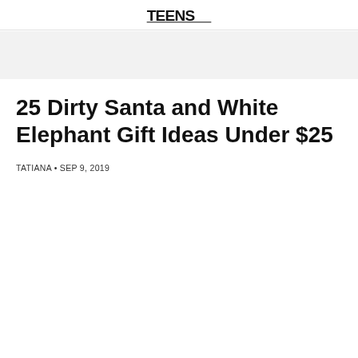TEENS logo
25 Dirty Santa and White Elephant Gift Ideas Under $25
TATIANA • SEP 9, 2019